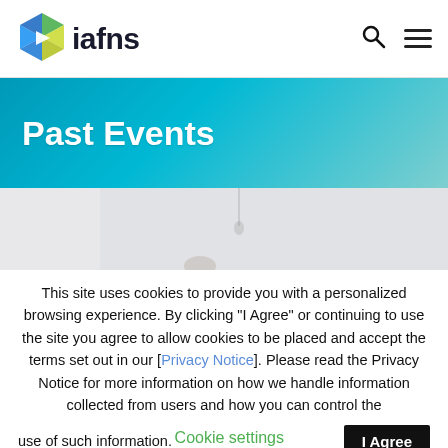iafns
[Figure (illustration): IAFNS hexagon logo with green, blue, and yellow segments and a white play-button triangle]
Past Events
[Figure (photo): Partial blurred photo strip showing a person in a white setting]
This site uses cookies to provide you with a personalized browsing experience. By clicking “I Agree” or continuing to use the site you agree to allow cookies to be placed and accept the terms set out in our [Privacy Notice]. Please read the Privacy Notice for more information on how we handle information collected from users and how you can control the use of such information.
Cookie settings
I Agree